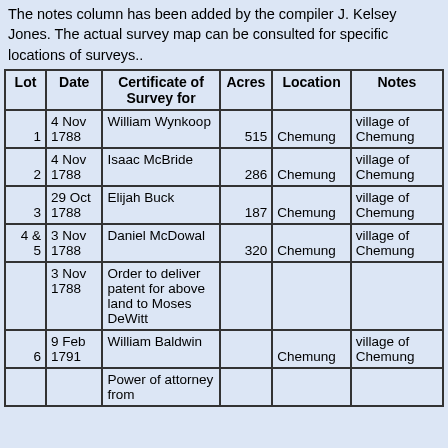The notes column has been added by the compiler J. Kelsey Jones. The actual survey map can be consulted for specific locations of surveys..
| Lot | Date | Certificate of Survey for | Acres | Location | Notes |
| --- | --- | --- | --- | --- | --- |
| 1 | 4 Nov 1788 | William Wynkoop | 515 | Chemung | village of Chemung |
| 2 | 4 Nov 1788 | Isaac McBride | 286 | Chemung | village of Chemung |
| 3 | 29 Oct 1788 | Elijah Buck | 187 | Chemung | village of Chemung |
| 4 & 5 | 3 Nov 1788 | Daniel McDowal | 320 | Chemung | village of Chemung |
|  | 3 Nov 1788 | Order to deliver patent for above land to Moses DeWitt |  |  |  |
| 6 | 9 Feb 1791 | William Baldwin |  | Chemung | village of Chemung |
|  |  | Power of attorney from |  |  |  |